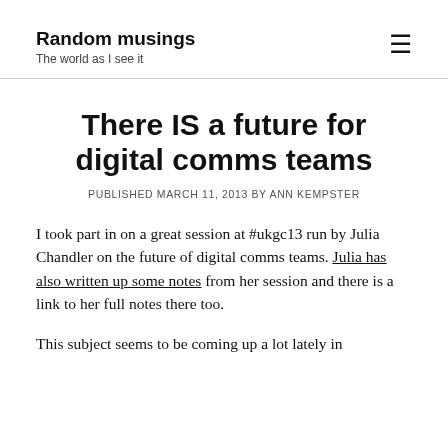Random musings
The world as I see it
There IS a future for digital comms teams
PUBLISHED MARCH 11, 2013 BY ANN KEMPSTER
I took part in on a great session at #ukgc13 run by Julia Chandler on the future of digital comms teams. Julia has also written up some notes from her session and there is a link to her full notes there too.
This subject seems to be coming up a lot lately in